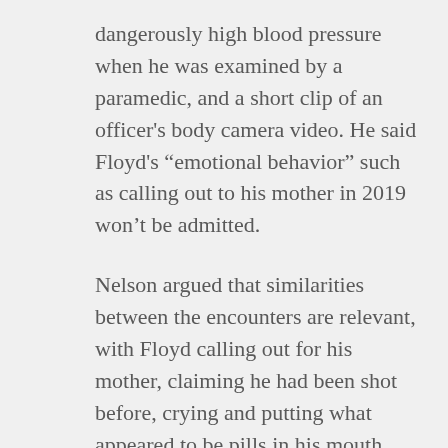dangerously high blood pressure when he was examined by a paramedic, and a short clip of an officer's body camera video. He said Floyd's “emotional behavior” such as calling out to his mother in 2019 won’t be admitted.
Nelson argued that similarities between the encounters are relevant, with Floyd calling out for his mother, claiming he had been shot before, crying and putting what appeared to be pills in his mouth.
This was new to me: